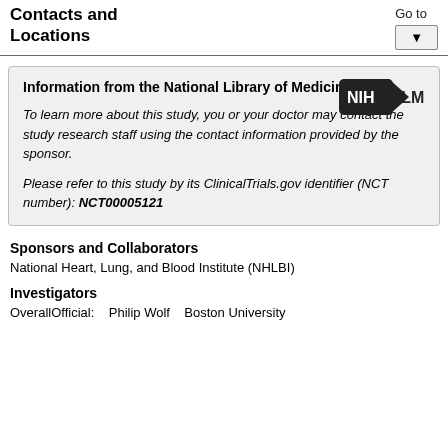Contacts and Locations
Go to
[Figure (screenshot): Dropdown button with downward arrow]
Information from the National Library of Medicine
To learn more about this study, you or your doctor may contact the study research staff using the contact information provided by the sponsor.
Please refer to this study by its ClinicalTrials.gov identifier (NCT number): NCT00005121
[Figure (logo): NIH NLM logo — black rounded arrow shape with NIH text and NLM text]
Sponsors and Collaborators
National Heart, Lung, and Blood Institute (NHLBI)
Investigators
OverallOfficial:    Philip Wolf    Boston University